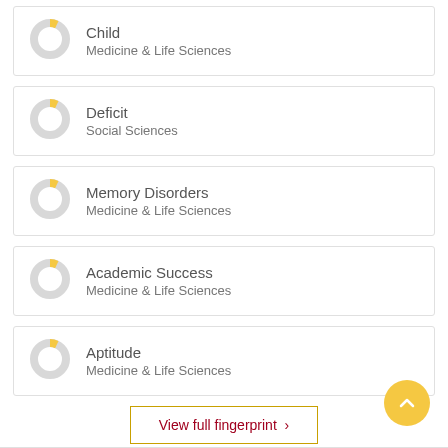[Figure (donut-chart): Small donut chart with small yellow segment, mostly grey - Child]
Child
Medicine & Life Sciences
[Figure (donut-chart): Small donut chart with small yellow segment, mostly grey - Deficit]
Deficit
Social Sciences
[Figure (donut-chart): Small donut chart with small yellow segment, mostly grey - Memory Disorders]
Memory Disorders
Medicine & Life Sciences
[Figure (donut-chart): Small donut chart with small yellow segment, mostly grey - Academic Success]
Academic Success
Medicine & Life Sciences
[Figure (donut-chart): Small donut chart with small yellow segment, mostly grey - Aptitude]
Aptitude
Medicine & Life Sciences
View full fingerprint >